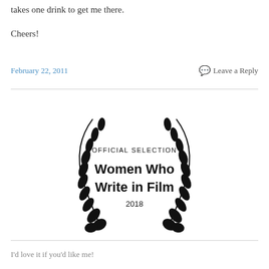takes one drink to get me there.
Cheers!
February 22, 2011
Leave a Reply
[Figure (logo): Official Selection laurel wreath logo for Women Who Write in Film 2018]
I'd love it if you'd like me!